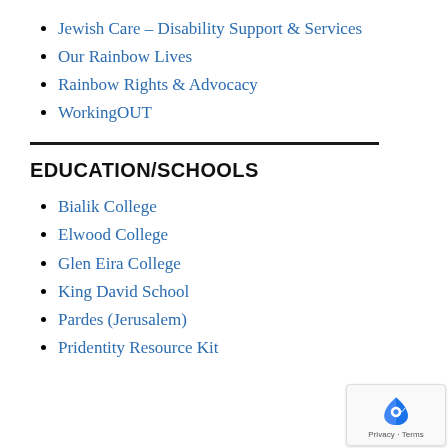Jewish Care – Disability Support & Services
Our Rainbow Lives
Rainbow Rights & Advocacy
WorkingOUT
EDUCATION/SCHOOLS
Bialik College
Elwood College
Glen Eira College
King David School
Pardes (Jerusalem)
Pridentity Resource Kit